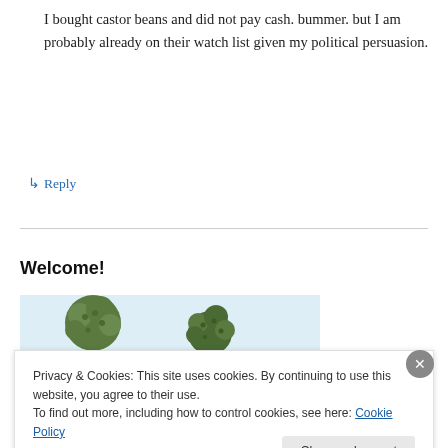I bought castor beans and did not pay cash. bummer. but I am probably already on their watch list given my political persuasion.
↳ Reply
Welcome!
[Figure (photo): Photo of two castor bean plants with round seed heads against a pale blue sky background]
Privacy & Cookies: This site uses cookies. By continuing to use this website, you agree to their use.
To find out more, including how to control cookies, see here: Cookie Policy